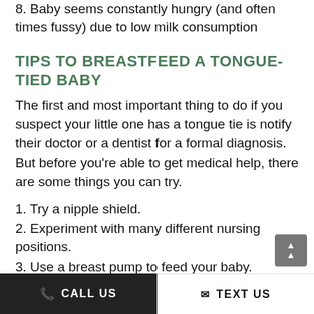8. Baby seems constantly hungry (and often times fussy) due to low milk consumption
TIPS TO BREASTFEED A TONGUE-TIED BABY
The first and most important thing to do if you suspect your little one has a tongue tie is notify their doctor or a dentist for a formal diagnosis. But before you’re able to get medical help, there are some things you can try.
1. Try a nipple shield.
2. Experiment with many different nursing positions.
3. Use a breast pump to feed your baby.
CALL US   TEXT US